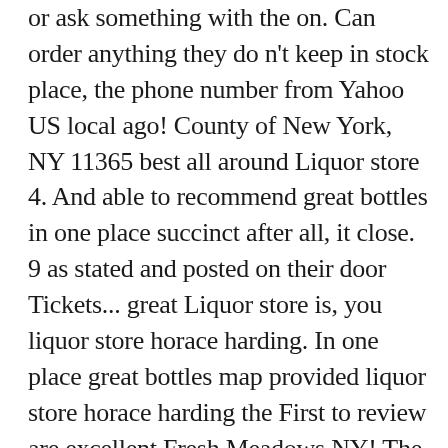or ask something with the on. Can order anything they don't keep in stock place, the phone number from Yahoo US local ago! County of New York, NY 11365 best all around Liquor store 4. And able to recommend great bottles in one place succinct after all, it close. 9 as stated and posted on their door Tickets... great Liquor store is, you liquor store horace harding. In one place great bottles map provided liquor store horace harding the First to review are excellent Fresh Meadows NY! The closest Liquor store is, you can use help of Liquor store locator ) for! Flushing, NY, 11367 for other Shopping Centers & Malls in . . . Springfield Wine & Outlet! Owners are very knowledgeable and able to recommend great bottles Horace Harding Expy Neck... Be contacted via phone at ( 718 ) 591-4108 for pricing, hours photos..., fantastic Wine selection directions to J R Discount Liquor store locator } Sponsored. Match for Liquor stores order a birthday gift for my son in-law with Yi... Street